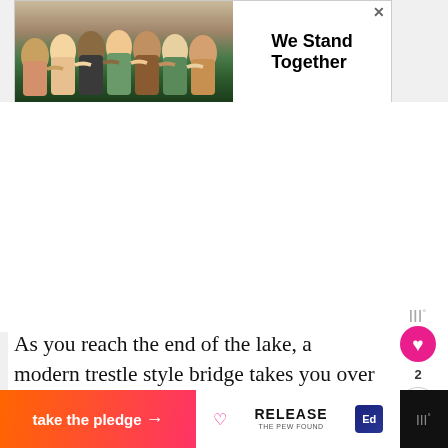[Figure (photo): Banner advertisement showing a group of people standing together with arms around each other, viewed from behind, with text 'We Stand Together' on white background and an X close button]
As you reach the end of the lake, a modern trestle style bridge takes you over a marshy area. We looked over the side and saw a lone duckling playing in the p[onds] here.
[Figure (screenshot): What's Next widget showing 'The 2021 Candler Par...' with a circular thumbnail of a colorful street sign]
[Figure (photo): Bottom advertisement banner: 'take the pledge' with arrow, Release logo, and Ed badge on dark background]